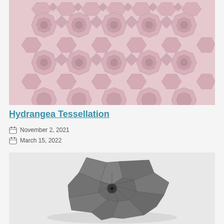[Figure (photo): Pink origami hydrangea tessellation pattern made of folded paper forming repeating floral/geometric shapes on a white background]
Hydrangea Tessellation
November 2, 2021
March 15, 2022
[Figure (photo): Dark grey/charcoal origami star/flower shape made of folded paper with geometric triangular points radiating from center, on white background]